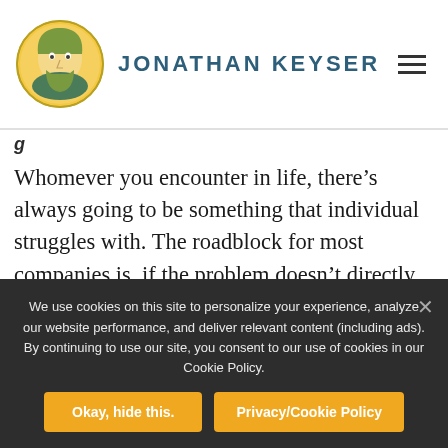JONATHAN KEYSER
Whomever you encounter in life, there’s always going to be something that individual struggles with. The roadblock for most companies is, if the problem doesn’t directly relate with their business, they assume there
We use cookies on this site to personalize your experience, analyze our website performance, and deliver relevant content (including ads). By continuing to use our site, you consent to our use of cookies in our Cookie Policy.
Okay, hide this.
Privacy/Cookie Policy